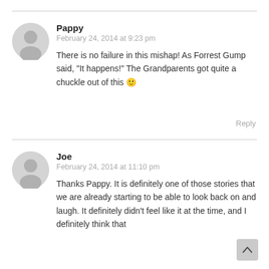Pappy
February 24, 2014 at 9:23 pm
There is no failure in this mishap! As Forrest Gump said, "It happens!" The Grandparents got quite a chuckle out of this 🙂
Reply
Joe
February 24, 2014 at 11:10 pm
Thanks Pappy. It is definitely one of those stories that we are already starting to be able to look back on and laugh. It definitely didn't feel like it at the time, and I definitely think that